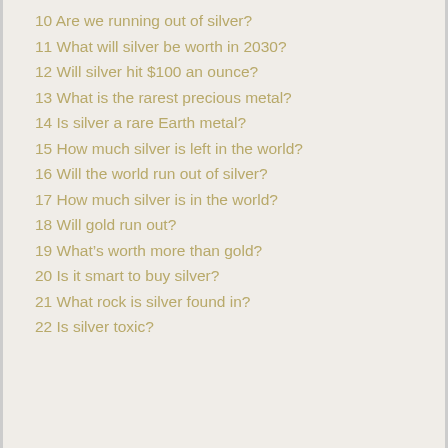10 Are we running out of silver?
11 What will silver be worth in 2030?
12 Will silver hit $100 an ounce?
13 What is the rarest precious metal?
14 Is silver a rare Earth metal?
15 How much silver is left in the world?
16 Will the world run out of silver?
17 How much silver is in the world?
18 Will gold run out?
19 What’s worth more than gold?
20 Is it smart to buy silver?
21 What rock is silver found in?
22 Is silver toxic?